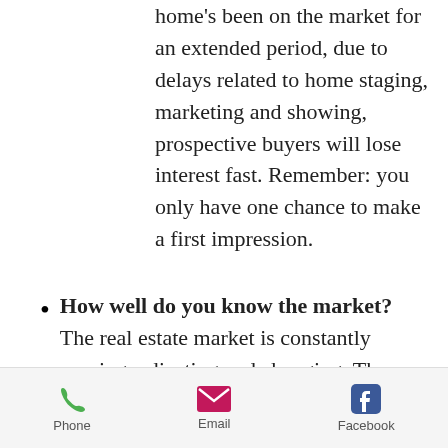home's been on the market for an extended period, due to delays related to home staging, marketing and showing, prospective buyers will lose interest fast. Remember: you only have one chance to make a first impression.
How well do you know the market? The real estate market is constantly moving, adjusting and changing. There are trends you need to stay on top of, and
Phone  Email  Facebook